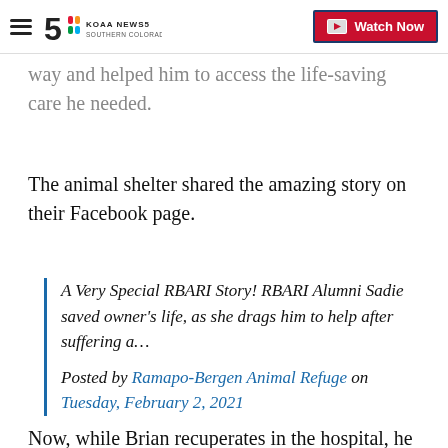KOAA News5 Southern Colorado | Watch Now
way and helped him to access the life-saving care he needed.
The animal shelter shared the amazing story on their Facebook page.
A Very Special RBARI Story! RBARI Alumni Sadie saved owner's life, as she drags him to help after suffering a…

Posted by Ramapo-Bergen Animal Refuge on Tuesday, February 2, 2021
Now, while Brian recuperates in the hospital, he